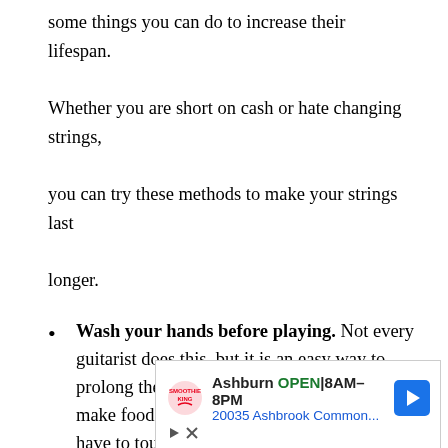some things you can do to increase their lifespan. Whether you are short on cash or hate changing strings, you can try these methods to make your strings last longer.
Wash your hands before playing. Not every guitarist does this, but it is an easy way to prolong the life of your strings. Don't eat or make food while playing the guitar and if you have to touch something oily, wash your hands before you continue playing.
Keep your guitar clean. While playing, the oil and dead skin from your hands transfer onto your
[Figure (other): Advertisement banner: Smoothie King logo, Ashburn OPEN 8AM-8PM, 20035 Ashbrook Common..., navigation arrow icon, play and close controls]